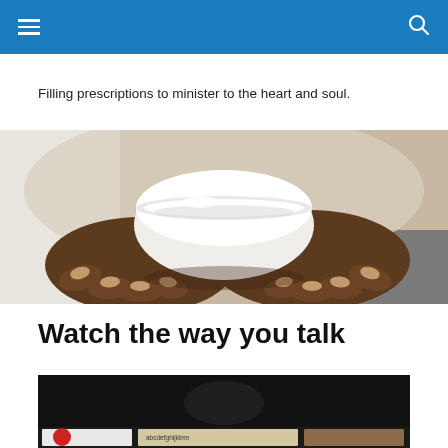Navigation header with menu and search icons
Filling prescriptions to minister to the heart and soul.
[Figure (photo): Close-up photo of two dark-skinned hands holding a white mortar bowl, with a blurred white background suggesting a pharmacist or healthcare setting.]
Watch the way you talk
[Figure (screenshot): Dark video thumbnail showing a video player with colorful content partially visible at the bottom, appearing to be a TV or media segment.]